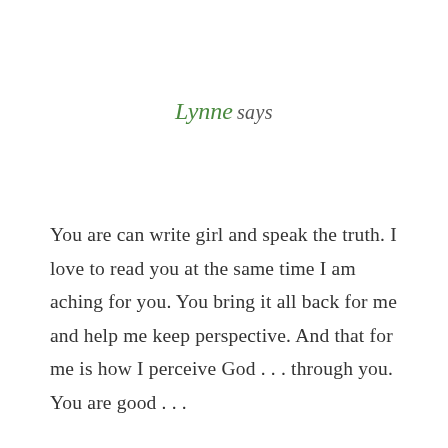Lynne says
You are can write girl and speak the truth. I love to read you at the same time I am aching for you. You bring it all back for me and help me keep perspective. And that for me is how I perceive God . . . through you. You are good . . .